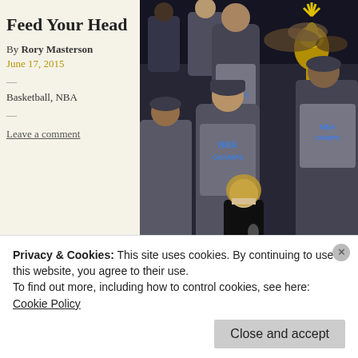Feed Your Head
By Rory Masterson
June 17, 2015
—
Basketball, NBA
—
Leave a comment
[Figure (photo): NBA Championship celebration photo showing players and staff in NBA Champions t-shirts holding the Larry O'Brien Championship Trophy, with a female reporter holding a microphone in the foreground.]
Privacy & Cookies: This site uses cookies. By continuing to use this website, you agree to their use.
To find out more, including how to control cookies, see here: Cookie Policy